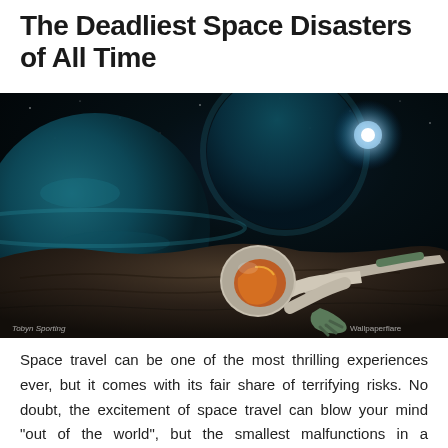The Deadliest Space Disasters of All Time
[Figure (illustration): Digital illustration of an astronaut in a white spacesuit lying on rocky terrain, with large teal/blue planets and a bright star or sun in the dark space background. The astronaut's helmet visor reflects orange/yellow light.]
Space travel can be one of the most thrilling experiences ever, but it comes with its fair share of terrifying risks. No doubt, the excitement of space travel can blow your mind “out of the world”, but the smallest malfunctions in a spacecraft could be tragic